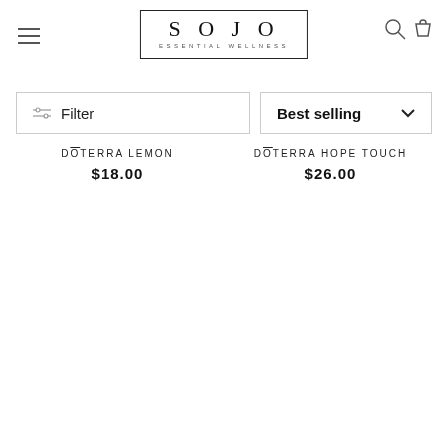[Figure (logo): SOJO Essential Wellness logo in a rectangular border, with hamburger menu icon on the left and search/cart icons on the right]
Filter
Best selling
DŌTERRA LEMON
$18.00
DŌTERRA HOPE TOUCH
$26.00